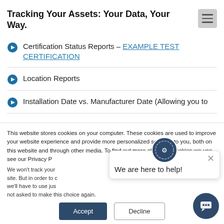Tracking Your Assets: Your Data, Your Way.
Certification Status Reports – EXAMPLE TEST CERTIFICATION
Location Reports
Installation Date vs. Manufacturer Date (Allowing you to
This website stores cookies on your computer. These cookies are used to improve your website experience and provide more personalized services to you, both on this website and through other media. To find out more about the cookies we use, see our Privacy P
We won't track your site. But in order to c we'll have to use jus not asked to make this choice again.
We are here to help!